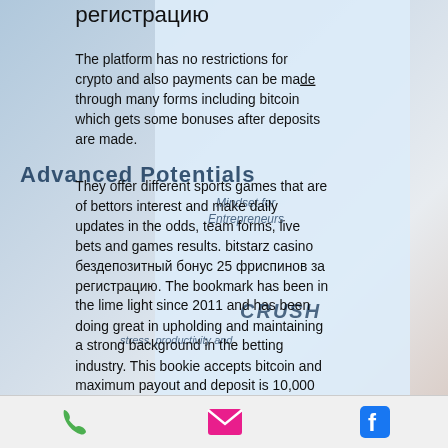регистрацию
The platform has no restrictions for crypto and also payments can be made through many forms including bitcoin which gets some bonuses after deposits are made.
They offer different sports games that are of bettors interest and make daily updates in the odds, team forms, live bets and games results. bitstarz casino бездепозитный бонус 25 фриспинов за регистрацию. The bookmark has been in the lime light since 2011 and has been doing great in upholding and maintaining a strong background in the betting industry. This bookie accepts bitcoin and maximum payout and deposit is 10,000 USD.
[Figure (other): Button with orange border: Begin today with a FREE consultation!]
all recorded starz casino бездепозитный бонус 25 фриспинов за
Phone | Email | Facebook icons